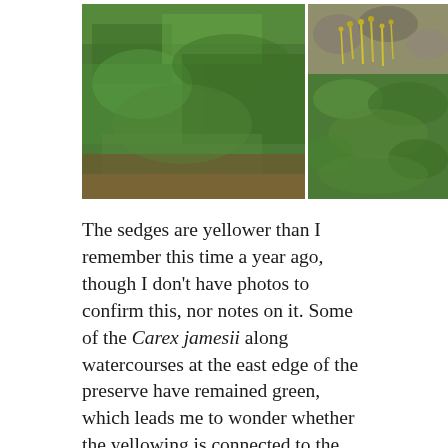[Figure (photo): Two side-by-side nature photos. Left: dense green foliage of a coniferous or sedge-like plant. Right: moss or small green plants with yellowish sporophytes growing among rocks.]
The sedges are yellower than I remember this time a year ago, though I don't have photos to confirm this, nor notes on it. Some of the Carex jamesii along watercourses at the east edge of the preserve have remained green, which leads me to wonder whether the yellowing is connected to the summer's drought. Clones of Wood's sedge have collapsed into disrepair, confusions of narrow foliage sprawling in puddles of dried oak leaves collected around them. But yet, at the same spots, a few